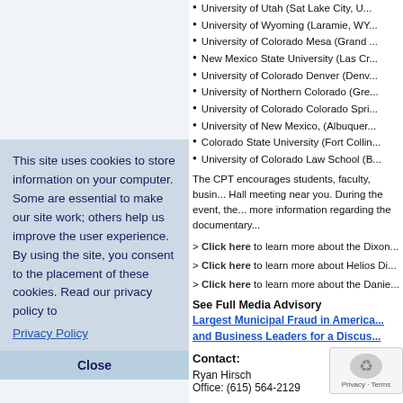University of Utah (Salt Lake City, U...
University of Wyoming (Laramie, WY...
University of Colorado Mesa (Grand ...
New Mexico State University (Las Cr...
University of Colorado Denver (Denv...
University of Northern Colorado (Gre...
University of Colorado Colorado Spri...
University of New Mexico, (Albuquer...
Colorado State University (Fort Collin...
University of Colorado Law School (B...
The CPT encourages students, faculty, busin... Hall meeting near you. During the event, the... more information regarding the documentary...
> Click here to learn more about the Dixon...
> Click here to learn more about Helios Di...
> Click here to learn more about the Danie...
See Full Media Advisory
Largest Municipal Fraud in America... and Business Leaders for a Discus...
Contact:
Ryan Hirsch
Office: (615) 564-2129
This site uses cookies to ... on your computer. Some ... make our site work; others help us improve the user experience. By using the site, you consent to the placement of these cookies. Read our privacy policy to...
Privacy Policy
Close